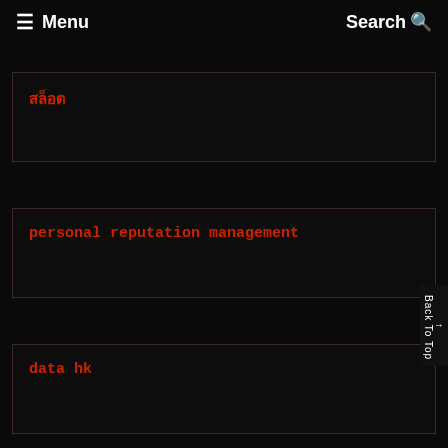☰ Menu   Search 🔍
สล็อต
personal reputation management
data hk
judi slot online